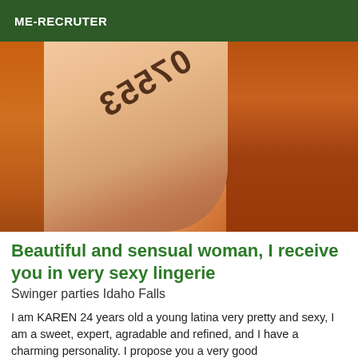ME-RECRUTER
[Figure (photo): Close-up photo of a person's leg/thigh area with a tattooed number, lying on orange/rust colored towels or fabric.]
Beautiful and sensual woman, I receive you in very sexy lingerie
Swinger parties Idaho Falls
I am KAREN 24 years old a young latina very pretty and sexy, I am a sweet, expert, agradable and refined, and I have a charming personality. I propose you a very good